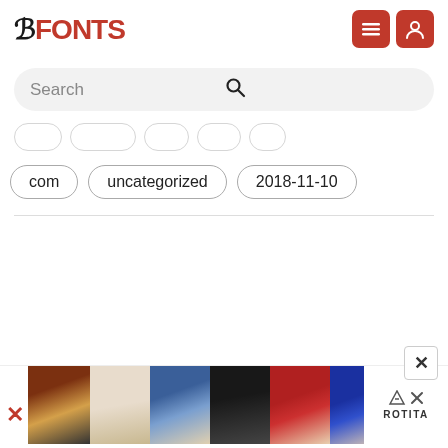FFONTS
Search
com
uncategorized
2018-11-10
[Figure (screenshot): Advertisement banner showing fashion clothing images with ROTITA brand label]